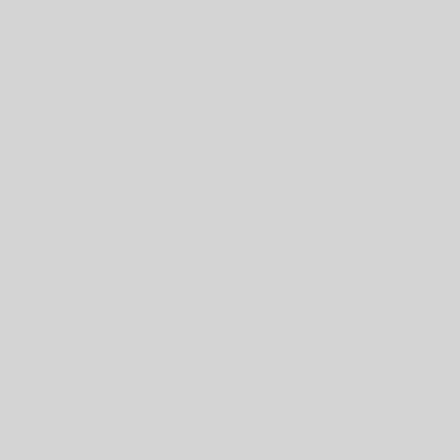I will first direct your attention to transgression. I will arrange my corresponding duties we are und
1. The duties which you owe to happiness. You can secure this in avoiding whatever is wrong and then to practise 'righteousness and created, and glorify your heaven illus trations of these remarks.
In the first place, you were ma the laws of their physical nature, therefore prepared to enjoy more If they have disobeyed these law consequently suffer more or less the third and fourth generation. W the fathers are visited upon their the gout, scrofula, consumption a relate to your animal nature, you high degree of satisfaction and a
« Forrige